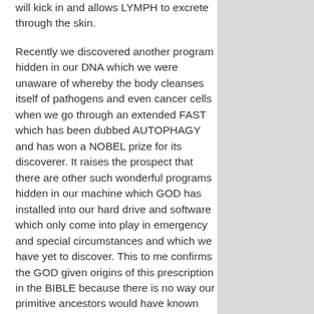will kick in and allows LYMPH to excrete through the skin.
Recently we discovered another program hidden in our DNA which we were unaware of whereby the body cleanses itself of pathogens and even cancer cells when we go through an extended FAST which has been dubbed AUTOPHAGY and has won a NOBEL prize for its discoverer. It raises the prospect that there are other such wonderful programs hidden in our machine which GOD has installed into our hard drive and software which only come into play in emergency and special circumstances and which we have yet to discover. This to me confirms the GOD given origins of this prescription in the BIBLE because there is no way our primitive ancestors would have known about this FASTING  " program".
Even more recently the researchers at Cardiff University in Whales discovered the existence of what could be a UNIVERSAL marker they called MR-1 which can identify any and all cancer cells in the body no matter which kind they are and an existing killer T cell which recognizes and reacts to